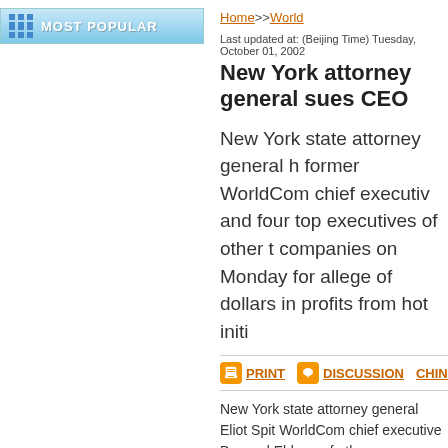MOST POPULAR
Home>>World
Last updated at: (Beijing Time) Tuesday, October 01, 2002
New York attorney general sues CEO
New York state attorney general former WorldCom chief executive and four top executives of other t companies on Monday for allege of dollars in profits from hot initi
PRINT   DISCUSSION   CHINES
New York state attorney general Eliot Spit WorldCom chief executive Bernard Ebbers of other telecommunications companies o making millions of dollars in profits from he
Ebbers, chairman of Qwest Communicatio Networks and the CEO of McLeod USA a with receiving IPO shares in exchange for